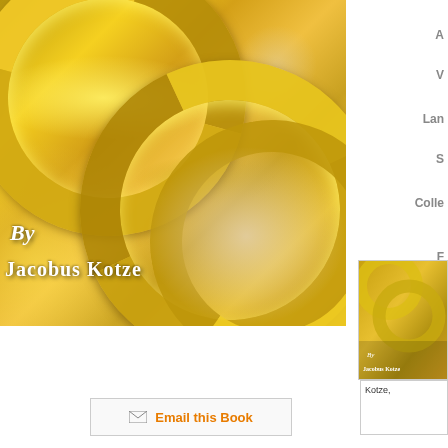[Figure (photo): Book cover showing gold wedding rings intertwined, with text 'By Jacobus Kotze' overlay on gold/yellow metallic background]
A
V
Lan
S
Colle
F
Publicatio
Pu
Membe
[Figure (photo): Small thumbnail of the book cover]
Kotze,
Email this Book